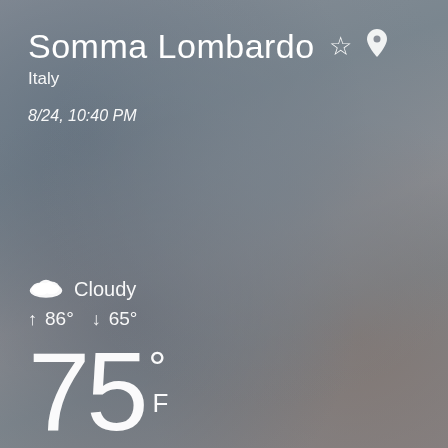Somma Lombardo
Italy
8/24, 10:40 PM
[Figure (illustration): Blurred cloudy sky background in muted grey-blue tones]
Cloudy
↑ 86° ↓ 65°
75° F